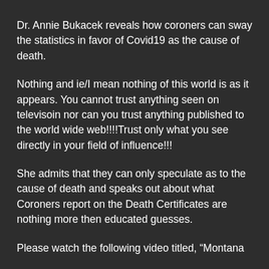Dr. Annie Bukacek reveals how coroners can sway the statistics in favor of Covid19 as the cause of death.
Nothing and ie/I mean nothing of this world is as it appears. You cannot trust anything seen on televisoin nor can you trust anything published to the world wide web!!!!Trust only what you see directly in your field of influence!!!
She admits that they can only speculate as to the cause of death and speaks out about what Coroners report on the Death Certificates are nothing more then educated guesses.
Please watch the following video titled, “Montana